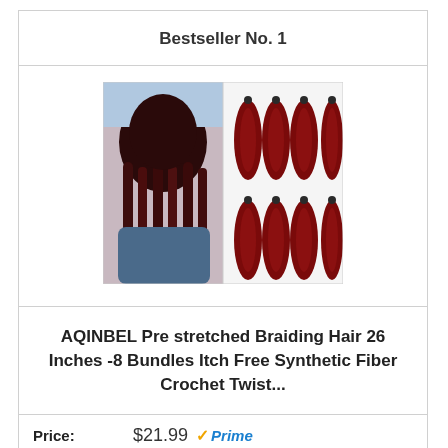Bestseller No. 1
[Figure (photo): Product photo showing braided hair style and 8 bundles of dark red/burgundy synthetic braiding hair extensions]
AQINBEL Pre stretched Braiding Hair 26 Inches -8 Bundles Itch Free Synthetic Fiber Crochet Twist...
Price: $21.99 Prime
View Latest Price